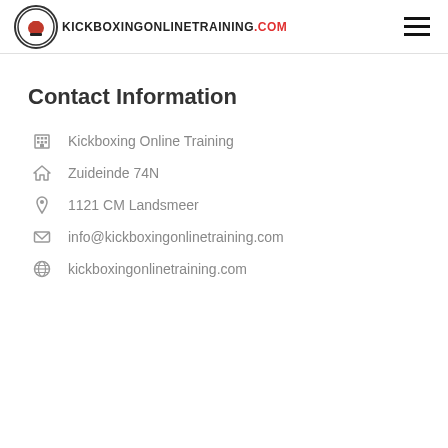KICKBOXINGONLINETRAINING.COM
Contact Information
Kickboxing Online Training
Zuideinde 74N
1121 CM Landsmeer
info@kickboxingonlinetraining.com
kickboxingonlinetraining.com